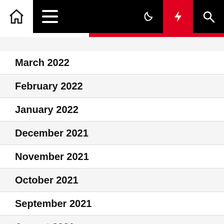Navigation bar with home, menu, dark mode, flash, and search icons
March 2022
February 2022
January 2022
December 2021
November 2021
October 2021
September 2021
August 2021
July 2021